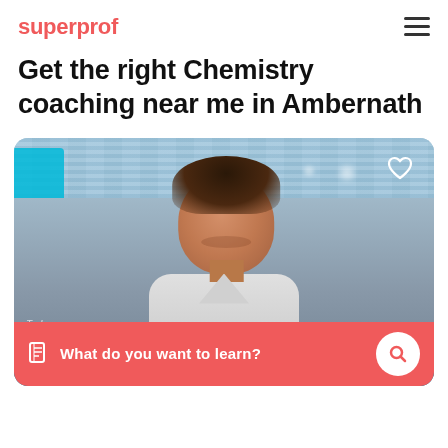superprof
Get the right Chemistry coaching near me in Ambernath
[Figure (photo): Profile photo of a tutor (young man smiling) on the Superprof platform, with a heart/favorite icon in the top-right corner of the card, and a red search bar at the bottom reading 'What do you want to learn?']